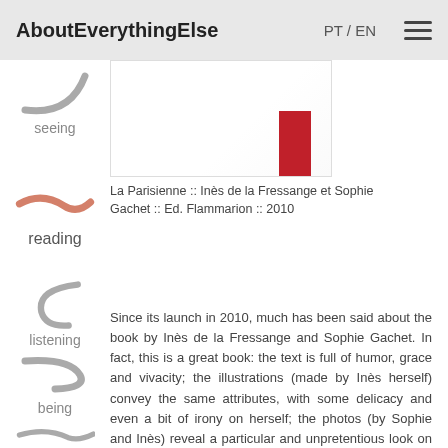AboutEverythingElse  PT / EN
[Figure (photo): Partial book cover of La Parisienne showing a red strip element against white background]
La Parisienne :: Inès de la Fressange et Sophie Gachet :: Ed. Flammarion :: 2010
[Figure (illustration): Grey curved swoosh icon with label 'seeing']
[Figure (illustration): Orange/salmon horizontal swoosh icon with label 'reading']
[Figure (illustration): Grey curved swoosh icon with label 'listening']
[Figure (illustration): Grey curved swoosh icon with label 'being']
[Figure (illustration): Grey curved swoosh icon with label 'thinking']
Since its launch in 2010, much has been said about the book by Inès de la Fressange and Sophie Gachet. In fact, this is a great book: the text is full of humor, grace and vivacity; the illustrations (made by Inès herself) convey the same attributes, with some delicacy and even a bit of irony on herself; the photos (by Sophie and Inès) reveal a particular and unpretentious look on objects and places; and the information… well, who would not like to have a list of addresses to the less obvious